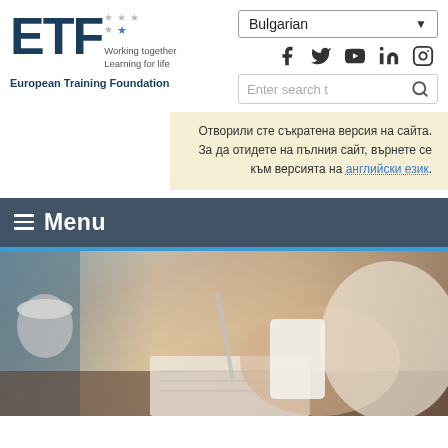[Figure (logo): ETF (European Training Foundation) logo with stars, 'Working together / Learning for life' tagline]
European Training Foundation
[Figure (other): Language selector dropdown showing 'Bulgarian']
[Figure (other): Social media icons: Facebook, Twitter, YouTube, LinkedIn, Instagram]
[Figure (other): Search input box with placeholder 'Enter search t' and search icon]
Отворили сте съкратена версия на сайта. За да отидете на пълния сайт, върнете се към версията на английски език.
≡ Menu
[Figure (photo): Photo of a person writing in a notebook, holding a pen and a card/phone, wearing a cream sweater, with a mug in background]